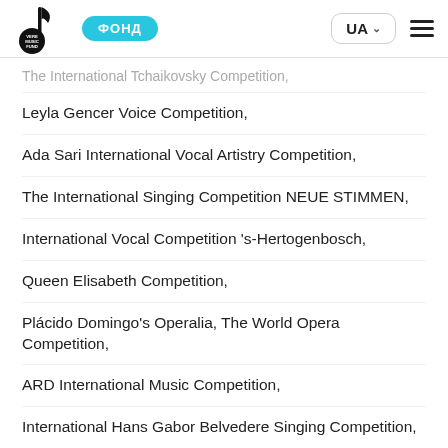VERE MUSIC FUND | ФОНД | UA
The International Tchaikovsky Competition,
Leyla Gencer Voice Competition,
Ada Sari International Vocal Artistry Competition,
The International Singing Competition NEUE STIMMEN,
International Vocal Competition 's-Hertogenbosch,
Queen Elisabeth Competition,
Plácido Domingo's Operalia, The World Opera Competition,
ARD International Music Competition,
International Hans Gabor Belvedere Singing Competition,